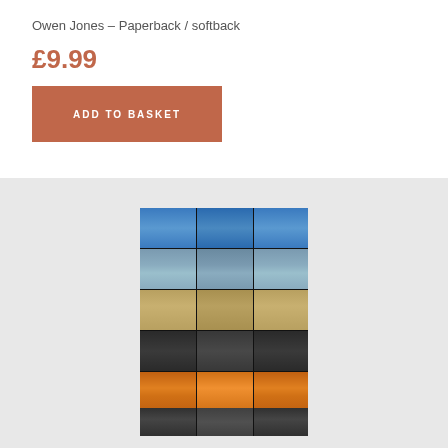Owen Jones – Paperback / softback
£9.99
ADD TO BASKET
[Figure (photo): Book cover of 'Propaganda Art' by Owen Jones, showing a 3-column grid of images including blue sky/sharks, apartment buildings, hands with money, dark figures, fire scenes, and clocks. Title 'Propaganda Art' appears at the bottom of the cover. The book is displayed on a light gray background.]